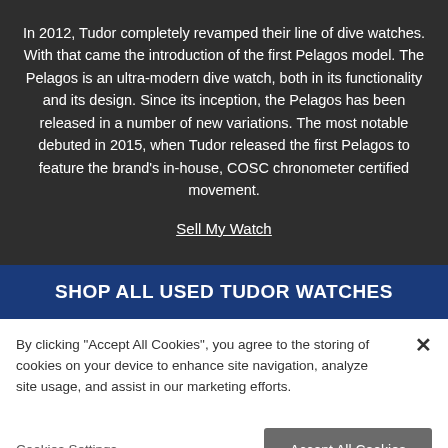In 2012, Tudor completely revamped their line of dive watches. With that came the introduction of the first Pelagos model. The Pelagos is an ultra-modern dive watch, both in its functionality and its design. Since its inception, the Pelagos has been released in a number of new variations. The most notable debuted in 2015, when Tudor released the first Pelagos to feature the brand's in-house, COSC chronometer certified movement.
Sell My Watch
SHOP ALL USED TUDOR WATCHES
By clicking "Accept All Cookies", you agree to the storing of cookies on your device to enhance site navigation, analyze site usage, and assist in our marketing efforts.
Cookies Settings
Accept All Cookies